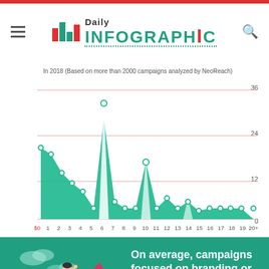Daily Infographic
[Figure (area-chart): In 2018 (Based on more than 2000 campaigns analyzed by NeoReach)]
[Figure (illustration): Person riding rocket with upward arrow, set on teal background]
On average, campaigns focused on branding or engagements saw an 8x ROI.